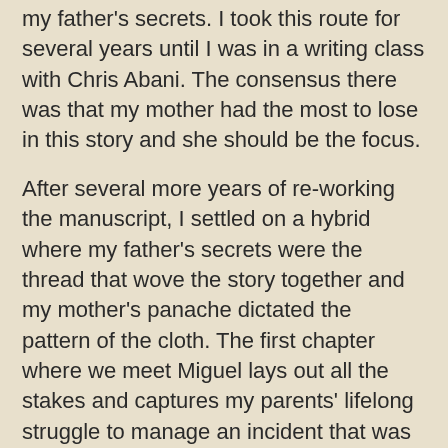my father's secrets. I took this route for several years until I was in a writing class with Chris Abani. The consensus there was that my mother had the most to lose in this story and she should be the focus.
After several more years of re-working the manuscript, I settled on a hybrid where my father's secrets were the thread that wove the story together and my mother's panache dictated the pattern of the cloth. The first chapter where we meet Miguel lays out all the stakes and captures my parents' lifelong struggle to manage an incident that was the first crack in the vault of family secrets.
DO: By writing a memoir, you have given your children something you had to fight for: a